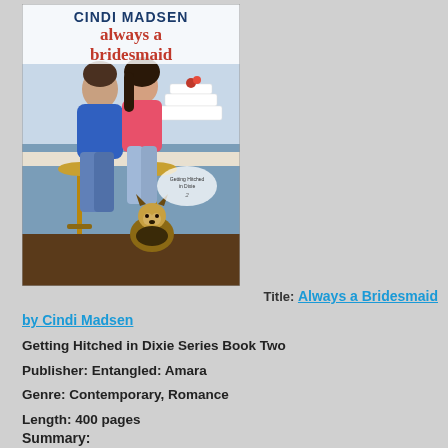[Figure (illustration): Book cover of 'Always a Bridesmaid' by Cindi Madsen. Shows a man in a blue shirt and a woman in a pink top sitting close together on bar stools, nearly kissing, with a small German Shepherd puppy sitting on the floor below them. A white tiered wedding cake is visible in the background. The cover text reads 'CINDI MADSEN always a bridesmaid' in the upper portion. A badge reads 'Getting Hitched in Dixie 2'.]
Title: Always a Bridesmaid
by Cindi Madsen
Getting Hitched in Dixie Series Book Two
Publisher: Entangled: Amara
Genre: Contemporary, Romance
Length: 400 pages
Summary: